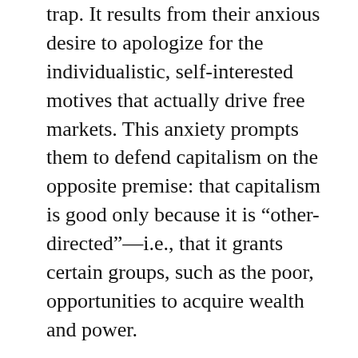trap. It results from their anxious desire to apologize for the individualistic, self-interested motives that actually drive free markets. This anxiety prompts them to defend capitalism on the opposite premise: that capitalism is good only because it is “other-directed”—i.e., that it grants certain groups, such as the poor, opportunities to acquire wealth and power.
Over the decades, this has led such apologists to launch unpersuasive and futile crusades, such as “compassionate conservatism” and “bleeding-heart libertarianism,” which are not defenses of capitalism, but embodiments of its opposite. For example, conservatives and some libertarians have led us all to point to the poor and